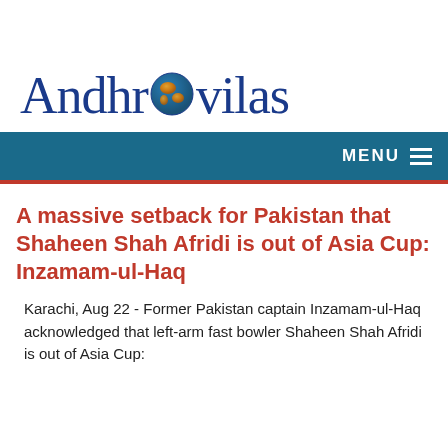[Figure (logo): Andhravilas logo with globe icon replacing the 'o' in Andhravilas, blue text on white background]
MENU ☰
A massive setback for Pakistan that Shaheen Shah Afridi is out of Asia Cup: Inzamam-ul-Haq
Karachi, Aug 22 - Former Pakistan captain Inzamam-ul-Haq acknowledged that left-arm fast bowler Shaheen Shah Afridi is out of Asia Cup: